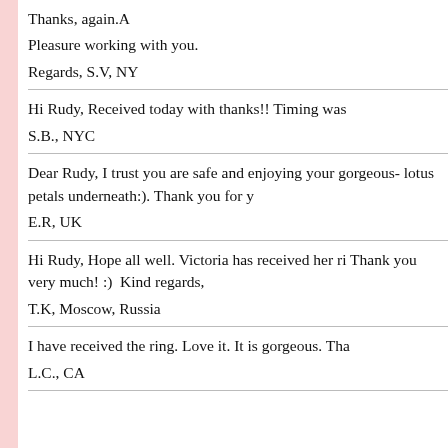Thanks, again.A

Pleasure working with you.

Regards, S.V, NY
Hi Rudy, Received today with thanks!! Timing was

S.B., NYC
Dear Rudy, I trust you are safe and enjoying your gorgeous- lotus petals underneath:). Thank you for y
E.R, UK
Hi Rudy, Hope all well. Victoria has received her ri Thank you very much! :)  Kind regards,
T.K, Moscow, Russia
I have received the ring. Love it. It is gorgeous. Tha
L.C., CA